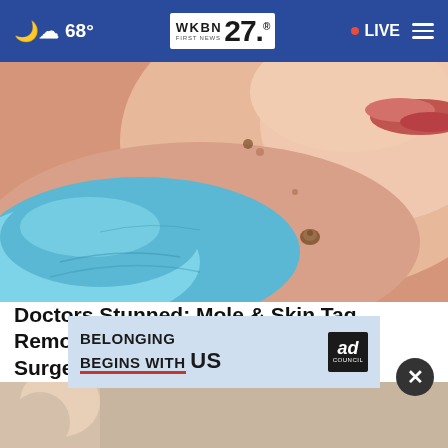68° WKBN FIRST NEWS 27 LIVE
[Figure (photo): Close-up of human skin with a skin tag/mole near the neck area, with a gloved blue hand approaching it]
Doctors Stunned: Mole & Skin Tag Removal Has Never Been Easier (No Surgery)
Healthodisc...
[Figure (photo): Bottom strip showing partial image of a person]
[Figure (infographic): Ad Council banner: BELONGING BEGINS WITH US]